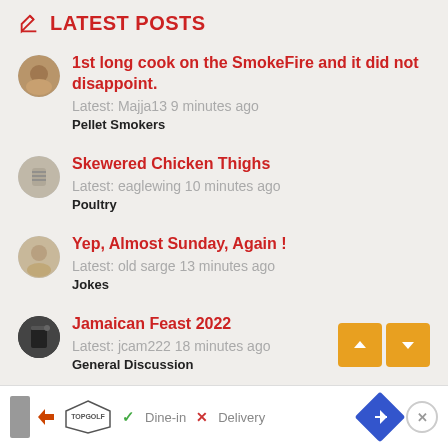LATEST POSTS
1st long cook on the SmokeFire and it did not disappoint.
Latest: Majja13 9 minutes ago
Pellet Smokers
Skewered Chicken Thighs
Latest: eaglewing 10 minutes ago
Poultry
Yep, Almost Sunday, Again !
Latest: old sarge 13 minutes ago
Jokes
Jamaican Feast 2022
Latest: jcam222 18 minutes ago
General Discussion
[Figure (screenshot): Advertisement bar with Topgolf logo, Dine-in and Delivery options, navigation arrow button, and close button]